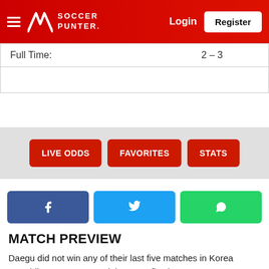Soccer Punter — Login | Register
| Full Time: | 2 – 3 |
|  |  |
[Figure (other): Three red buttons: LIVE ODDS, FAVORITES, STATS on a light gray background]
[Figure (other): Social sharing buttons: Facebook (blue), Twitter (cyan), WhatsApp (green)]
MATCH PREVIEW
Daegu did not win any of their last five matches in Korea Republic K-League 1 and they won five home games at DGB Arena.
Incheon United is in mixed form in K-League 1 and they won